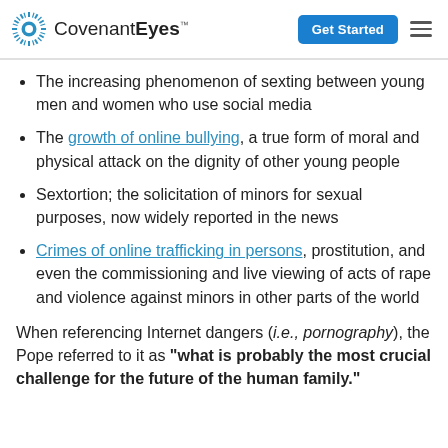Covenant Eyes — Get Started
The increasing phenomenon of sexting between young men and women who use social media
The growth of online bullying, a true form of moral and physical attack on the dignity of other young people
Sextortion; the solicitation of minors for sexual purposes, now widely reported in the news
Crimes of online trafficking in persons, prostitution, and even the commissioning and live viewing of acts of rape and violence against minors in other parts of the world
When referencing Internet dangers (i.e., pornography), the Pope referred to it as "what is probably the most crucial challenge for the future of the human family."